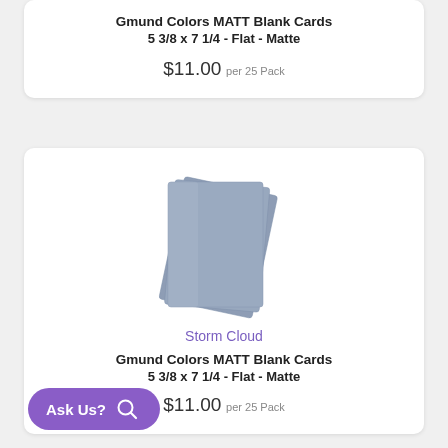Gmund Colors MATT Blank Cards
5 3/8 x 7 1/4 - Flat - Matte
$11.00 per 25 Pack
[Figure (photo): Stack of grey-blue blank cards (Storm Cloud color)]
Storm Cloud
Gmund Colors MATT Blank Cards
5 3/8 x 7 1/4 - Flat - Matte
$11.00 per 25 Pack
Ask Us?